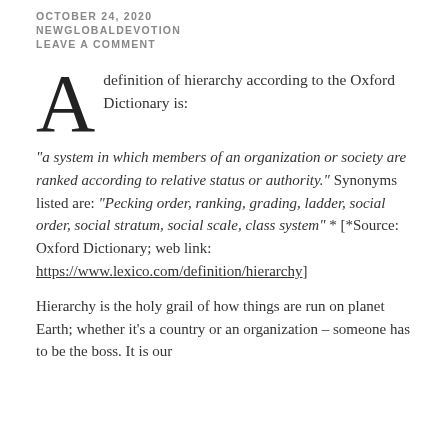OCTOBER 24, 2020
NEWGLOBALDEVOTION
LEAVE A COMMENT
A definition of hierarchy according to the Oxford Dictionary is:
“a system in which members of an organization or society are ranked according to relative status or authority.” Synonyms listed are: “Pecking order, ranking, grading, ladder, social order, social stratum, social scale, class system” * [*Source: Oxford Dictionary; web link: https://www.lexico.com/definition/hierarchy]
Hierarchy is the holy grail of how things are run on planet Earth; whether it’s a country or an organization – someone has to be the boss. It is our